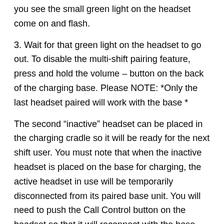you see the small green light on the headset come on and flash.
3. Wait for that green light on the headset to go out. To disable the multi-shift pairing feature, press and hold the volume – button on the back of the charging base. Please NOTE: *Only the last headset paired will work with the base *
The second “inactive” headset can be placed in the charging cradle so it will be ready for the next shift user. You must note that when the inactive headset is placed on the base for charging, the active headset in use will be temporarily disconnected from its paired base unit. You will need to push the Call Control button on the headset so that it will reconnect with the base
Once the second headset is charged and placed on the